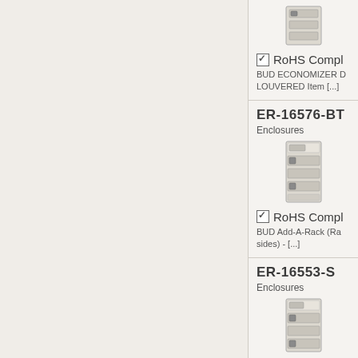[Figure (photo): BUD Economizer enclosure product photo (top, partially visible)]
☑ RoHS Compl
BUD ECONOMIZER D LOUVERED Item [...]
ER-16576-BT
Enclosures
[Figure (photo): BUD Add-A-Rack enclosure product photo]
☑ RoHS Compl
BUD Add-A-Rack (Rack sides) - [...]
ER-16553-S
Enclosures
[Figure (photo): BUD enclosure product photo (ER-16553-S)]
☑ RoHS C